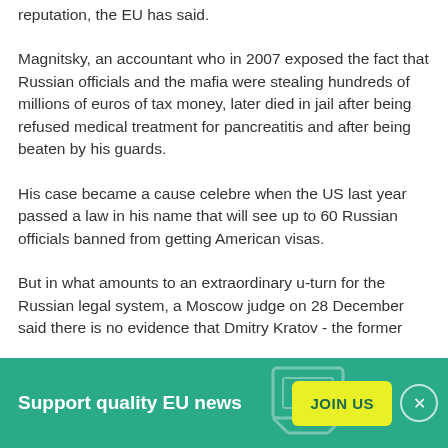reputation, the EU has said.
Magnitsky, an accountant who in 2007 exposed the fact that Russian officials and the mafia were stealing hundreds of millions of euros of tax money, later died in jail after being refused medical treatment for pancreatitis and after being beaten by his guards.
His case became a cause celebre when the US last year passed a law in his name that will see up to 60 Russian officials banned from getting American visas.
But in what amounts to an extraordinary u-turn for the Russian legal system, a Moscow judge on 28 December said there is no evidence that Dmitry Kratov - the former
Support quality EU news